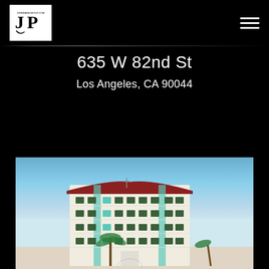[Figure (logo): JP John Park Group logo — black and white square logo with JP initials and JOHNPARKGROUP.COM text]
635 W 82nd St
Los Angeles, CA 90044
[Figure (photo): Exterior photograph of a multi-story white residential apartment building with red roof, teal accents, balconies, palm trees, and blue sky background]